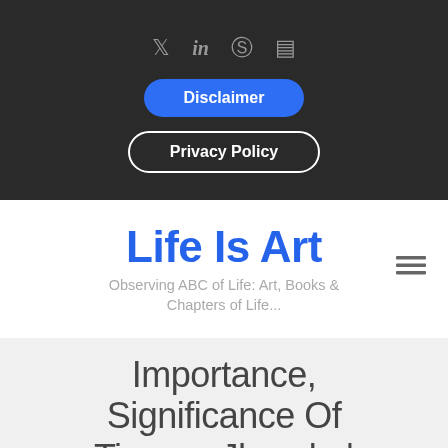Social icons: Twitter, LinkedIn, Pinterest, Instagram
Disclaimer
Privacy Policy
Life Is Art
Observing ABC of Life: Art, Books & Chapters of Life...
Importance, Significance Of Tiranga Jhanda |